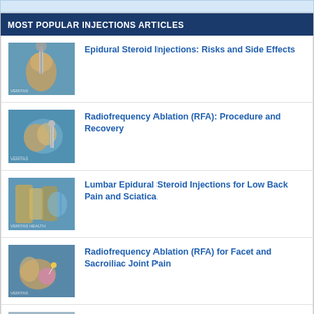MOST POPULAR INJECTIONS ARTICLES
Epidural Steroid Injections: Risks and Side Effects
Radiofrequency Ablation (RFA): Procedure and Recovery
Lumbar Epidural Steroid Injections for Low Back Pain and Sciatica
Radiofrequency Ablation (RFA) for Facet and Sacroiliac Joint Pain
How Epidural Steroid Injections Work